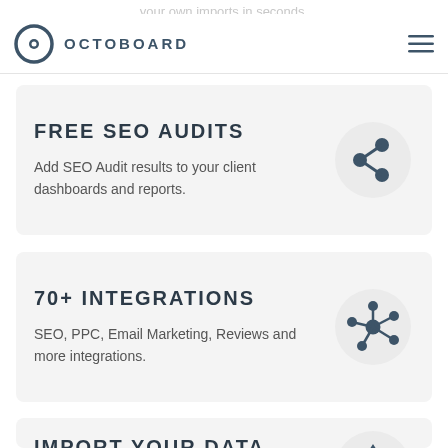your own imports in seconds.
OCTOBOARD
FREE SEO AUDITS
Add SEO Audit results to your client dashboards and reports.
70+ INTEGRATIONS
SEO, PPC, Email Marketing, Reviews and more integrations.
IMPORT YOUR DATA
Use our Google Sheets integration to